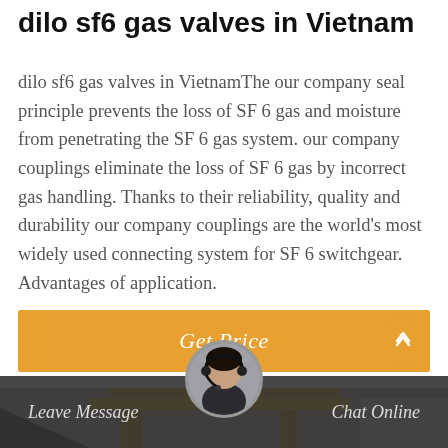dilo sf6 gas valves in Vietnam
dilo sf6 gas valves in VietnamThe our company seal principle prevents the loss of SF 6 gas and moisture from penetrating the SF 6 gas system. our company couplings eliminate the loss of SF 6 gas by incorrect gas handling. Thanks to their reliability, quality and durability our company couplings are the world's most widely used connecting system for SF 6 switchgear. Advantages of application.
[Figure (other): Orange button labeled Get Price]
[Figure (photo): Industrial equipment photo showing yellow metal frame/crane structure with dark background and footer bar containing Leave Message and Chat Online buttons with a customer service avatar]
Leave Message   Chat Online